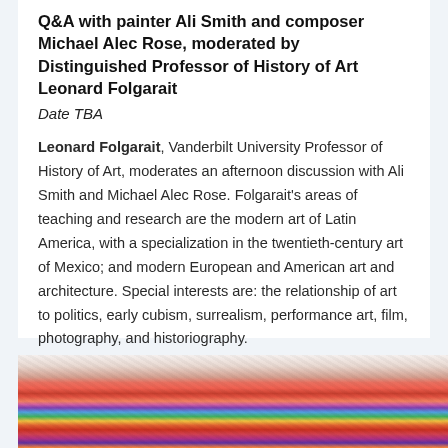Q&A with painter Ali Smith and composer Michael Alec Rose, moderated by Distinguished Professor of History of Art Leonard Folgarait
Date TBA
Leonard Folgarait, Vanderbilt University Professor of History of Art, moderates an afternoon discussion with Ali Smith and Michael Alec Rose. Folgarait's areas of teaching and research are the modern art of Latin America, with a specialization in the twentieth-century art of Mexico; and modern European and American art and architecture. Special interests are: the relationship of art to politics, early cubism, surrealism, performance art, film, photography, and historiography.
[Figure (photo): Colorful abstract painting or artwork displayed horizontally, featuring vibrant mixed colors including red, pink, blue, green, yellow, and purple with textured, layered brushwork.]